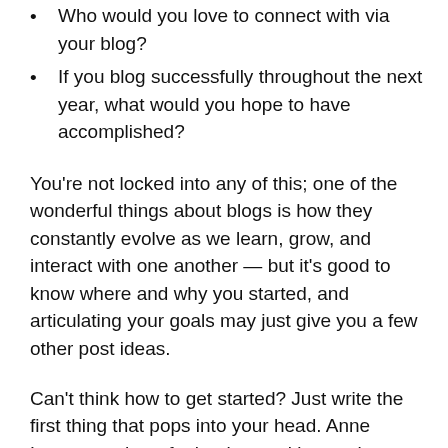Who would you love to connect with via your blog?
If you blog successfully throughout the next year, what would you hope to have accomplished?
You’re not locked into any of this; one of the wonderful things about blogs is how they constantly evolve as we learn, grow, and interact with one another — but it’s good to know where and why you started, and articulating your goals may just give you a few other post ideas.
Can’t think how to get started? Just write the first thing that pops into your head. Anne Lamott, author of a book on writing we love, says that you need to give yourself permission to write a “crappy first draft”. Anne makes a great point — just start writing, and worry about editing it later.